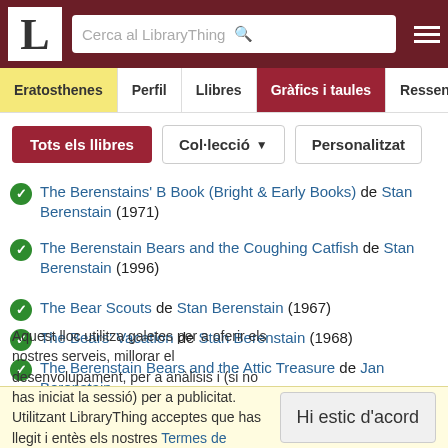LibraryThing - Cerca al LibraryThing
The Berenstains' B Book (Bright & Early Books) de Stan Berenstain (1971)
The Berenstain Bears and the Coughing Catfish de Stan Berenstain (1996)
The Bear Scouts de Stan Berenstain (1967)
The Bears' Vacation de Stan Berenstain (1968)
The Berenstain Bears and the Attic Treasure de Jan Berenstain
Aquest lloc utilitza galetes per a oferir els nostres serveis, millorar el desenvolupament, per a anàlisis i (si no has iniciat la sessió) per a publicitat. Utilitzant LibraryThing acceptes que has llegit i entès els nostres Termes de servei i política de privacitat. L'ús que facis del lloc i dels seus serveis està subjecte a aquestes polítiques i termes.